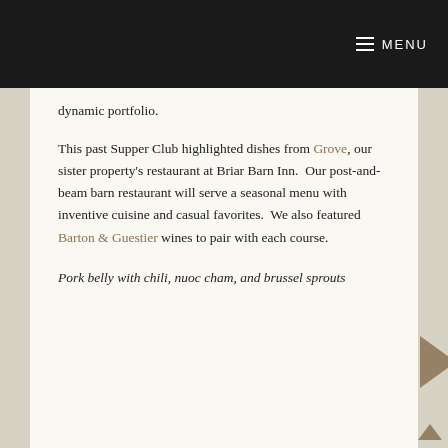≡ MENU
dynamic portfolio.
This past Supper Club highlighted dishes from Grove, our sister property's restaurant at Briar Barn Inn.  Our post-and-beam barn restaurant will serve a seasonal menu with inventive cuisine and casual favorites.  We also featured Barton & Guestier wines to pair with each course.
Pork belly with chili, nuoc cham, and brussel sprouts